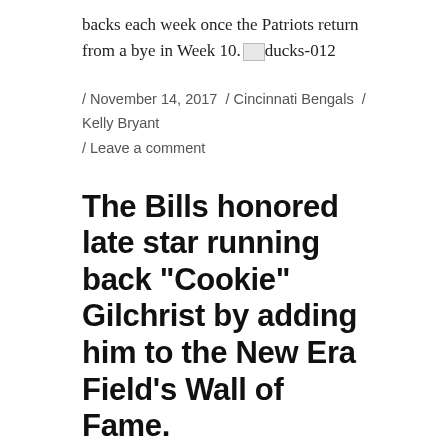backs each week once the Patriots return from a bye in Week 10. [image: ducks-012]
/ November 14, 2017 / Cincinnati Bengals / Kelly Bryant / Leave a comment
The Bills honored late star running back “Cookie” Gilchrist by adding him to the New Era Field’s Wall of Fame.
Gilchrist, who died at the age of 75 in January 2011, was regarded as one of football’s most